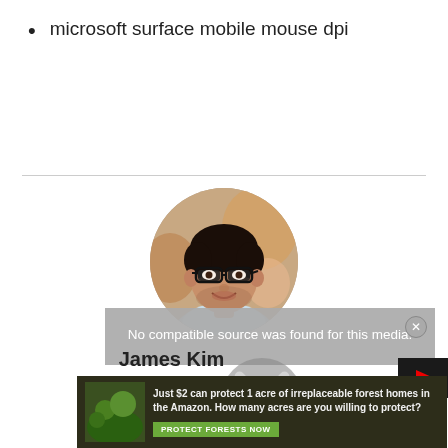microsoft surface mobile mouse dpi
[Figure (photo): Circular profile photo of a smiling young man with dark hair and glasses, wearing a light blue shirt, with a blurred urban background]
No compatible source was found for this media.
James Kim
Best Budget Gaming Mouse
[Figure (photo): Advertisement banner: forest/nature image with text 'Just $2 can protect 1 acre of irreplaceable forest homes in the Amazon. How many acres are you willing to protect?' and a green 'PROTECT FORESTS NOW' button]